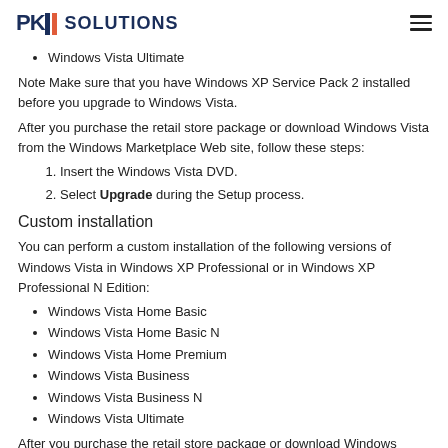PKI SOLUTIONS
Windows Vista Ultimate
Note Make sure that you have Windows XP Service Pack 2 installed before you upgrade to Windows Vista.
After you purchase the retail store package or download Windows Vista from the Windows Marketplace Web site, follow these steps:
1. Insert the Windows Vista DVD.
2. Select Upgrade during the Setup process.
Custom installation
You can perform a custom installation of the following versions of Windows Vista in Windows XP Professional or in Windows XP Professional N Edition:
Windows Vista Home Basic
Windows Vista Home Basic N
Windows Vista Home Premium
Windows Vista Business
Windows Vista Business N
Windows Vista Ultimate
After you purchase the retail store package or download Windows